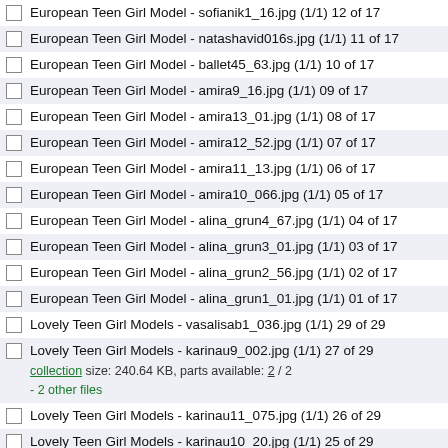European Teen Girl Model - sofianik1_16.jpg (1/1) 12 of 17
European Teen Girl Model - natashavid016s.jpg (1/1) 11 of 17
European Teen Girl Model - ballet45_63.jpg (1/1) 10 of 17
European Teen Girl Model - amira9_16.jpg (1/1) 09 of 17
European Teen Girl Model - amira13_01.jpg (1/1) 08 of 17
European Teen Girl Model - amira12_52.jpg (1/1) 07 of 17
European Teen Girl Model - amira11_13.jpg (1/1) 06 of 17
European Teen Girl Model - amira10_066.jpg (1/1) 05 of 17
European Teen Girl Model - alina_grun4_67.jpg (1/1) 04 of 17
European Teen Girl Model - alina_grun3_01.jpg (1/1) 03 of 17
European Teen Girl Model - alina_grun2_56.jpg (1/1) 02 of 17
European Teen Girl Model - alina_grun1_01.jpg (1/1) 01 of 17
Lovely Teen Girl Models - vasalisab1_036.jpg (1/1) 29 of 29
Lovely Teen Girl Models - karinau9_002.jpg (1/1) 27 of 29
collection size: 240.64 KB, parts available: 2 / 2
- 2 other files
Lovely Teen Girl Models - karinau11_075.jpg (1/1) 26 of 29
Lovely Teen Girl Models - karinau10_20.jpg (1/1) 25 of 29
Lovely Teen Girl Models - dashaod8_080.jpg (1/1) 24 of 29
Lovely Teen Girl Models - dashaod7_013.jpg (1/1) 23 of 29
Lovely Teen Girl Models - dashaod6_04.jpg (1/1) 22 of 29